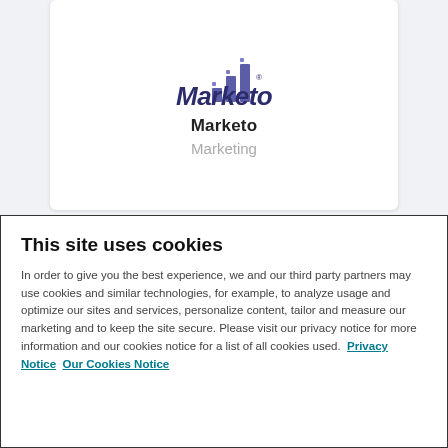[Figure (logo): Marketo logo with bar chart icon in purple/blue, italic bold text 'Marketo']
Marketo
Marketing
[Figure (logo): Oracle logo in red with 'ORACLE' text and underline, below 'MARKETING CLOUD' in black small caps]
This site uses cookies
In order to give you the best experience, we and our third party partners may use cookies and similar technologies, for example, to analyze usage and optimize our sites and services, personalize content, tailor and measure our marketing and to keep the site secure. Please visit our privacy notice for more information and our cookies notice for a list of all cookies used.  Privacy Notice  Our Cookies Notice